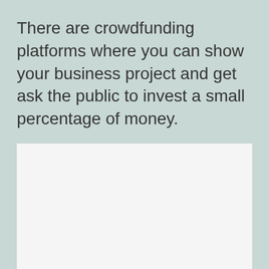There are crowdfunding platforms where you can show your business project and get ask the public to invest a small percentage of money.
[Figure (other): A blank white rectangular box, likely a placeholder for an image or diagram.]